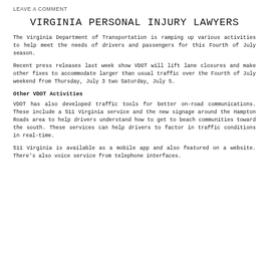LEAVE A COMMENT
VIRGINIA PERSONAL INJURY LAWYERS
The Virginia Department of Transportation is ramping up various activities to help meet the needs of drivers and passengers for this Fourth of July season.
Recent press releases last week show VDOT will lift lane closures and make other fixes to accommodate larger than usual traffic over the Fourth of July weekend from Thursday, July 3 two Saturday, July 5.
Other VDOT Activities
VDOT has also developed traffic tools for better on-road communications. These include a 511 Virginia service and the new signage around the Hampton Roads area to help drivers understand how to get to beach communities toward the south. These services can help drivers to factor in traffic conditions in real-time.
511 Virginia is available as a mobile app and also featured on a website. There's also voice service from telephone interfaces.